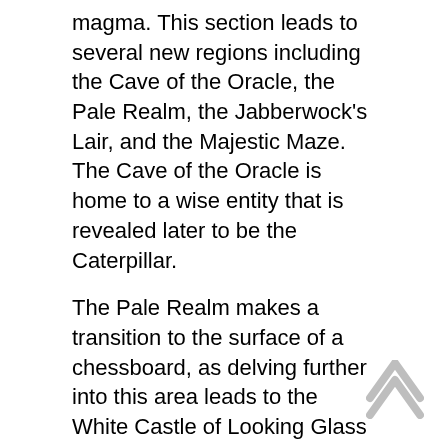magma. This section leads to several new regions including the Cave of the Oracle, the Pale Realm, the Jabberwock's Lair, and the Majestic Maze. The Cave of the Oracle is home to a wise entity that is revealed later to be the Caterpillar.
The Pale Realm makes a transition to the surface of a chessboard, as delving further into this area leads to the White Castle of Looking Glass Land, which is home to life-size chess pieces; the White pieces join Alice in the fight against the Red pieces, a deviation from her normally unhelpful «allies» from earlier portions of the game. Alice is twice transformed into a chess piece herself to pass certain obstacles.
Following this is a distorted version of Rutledge Asylum (where Alice has been incarcerated since her parents' tragic deaths). It is run by Tweedle Dee and Tweedle Dum and also houses the Mad Hatter's laboratory.
The path to the Jabberwock's Lair leads into the Land of Fire and Brimstone, a volcanic region of Wonderland based on...